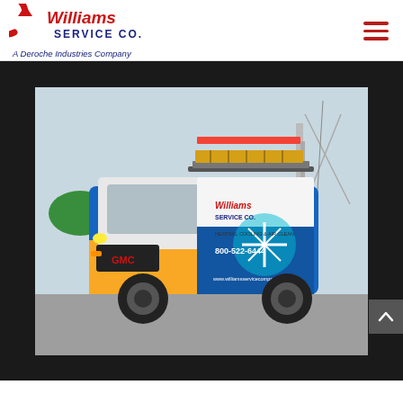[Figure (logo): Williams Service Co. logo with circular arrow, red and blue text, 'A Deroche Industries Company' tagline beneath]
[Figure (photo): GMC service van with Williams Service Co. branding wrap, ladders on roof rack, blue and yellow color scheme, showing phone number 800-522-6444 and website www.williamsservicecompany.com, parked outdoors near power tower]